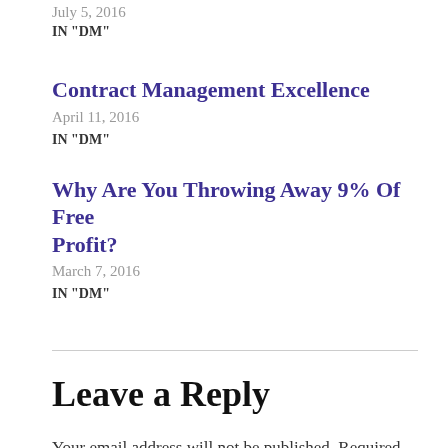July 5, 2016
IN "DM"
Contract Management Excellence
April 11, 2016
IN "DM"
Why Are You Throwing Away 9% Of Free Profit?
March 7, 2016
IN "DM"
Leave a Reply
Your email address will not be published. Required